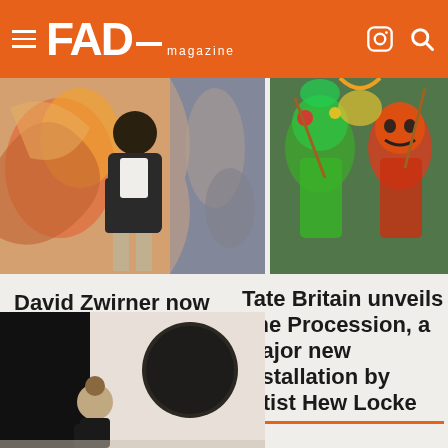FAD magazine
[Figure (photo): Artist standing in front of colorful abstract paintings in a gallery]
[Figure (photo): Colorful masked performers in elaborate costumes at a procession]
David Zwirner now represent Michael Armitage
Tate Britain unveils The Procession, a major new installation by artist Hew Locke
[Figure (photo): Person viewing a large circular dark artwork on a gallery wall]